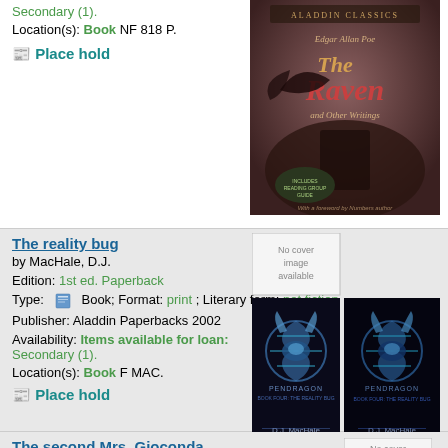Secondary (1).
Location(s): Book NF 818 P.
Place hold
[Figure (photo): Book cover of 'The Raven and Other Writings' by Edgar Allan Poe, Aladdin Classics edition, dark moody cover with a raven silhouette]
The reality bug
by MacHale, D.J.
Edition: 1st ed. Paperback
Type: Book; Format: print ; Literary form: not fiction
Publisher: Aladdin Paperbacks 2002
Availability: Items available for loan: Secondary (1).
Location(s): Book F MAC.
Place hold
[Figure (photo): No cover image available placeholder plus two Pendragon book covers by D.J. MacHale, showing the Reality Bug]
The second Mrs. Gioconda
[Figure (photo): No cover image available placeholder]